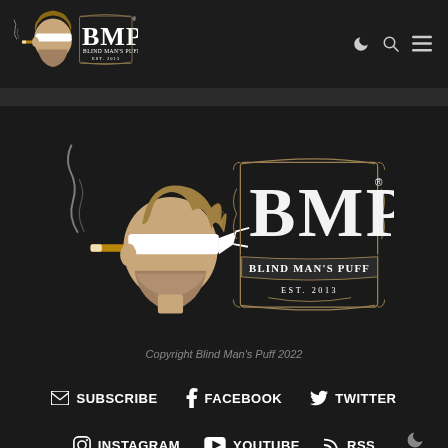BMP Blind Man's Puff Est. 2013 — navigation header with moon, search, and menu icons
[Figure (logo): Large Blind Man's Puff logo centered: blindfolded man smoking cigar with BMP text and Blind Man's Puff Est. 2013]
Copyright Blind Man's Puff 2022
SUBSCRIBE  FACEBOOK  TWITTER
INSTAGRAM  YOUTUBE  RSS